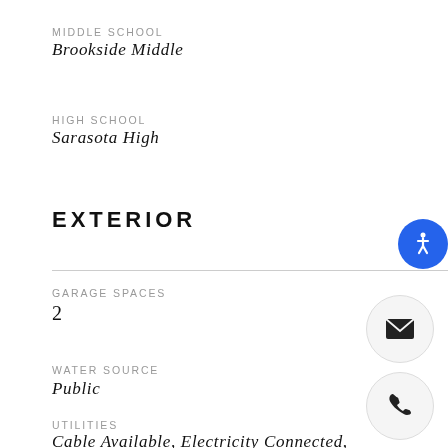MIDDLE SCHOOL
Brookside Middle
HIGH SCHOOL
Sarasota High
EXTERIOR
GARAGE SPACES
2
WATER SOURCE
Public
UTILITIES
Cable Available, Electricity Connected,